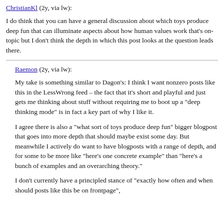ChristianKl (2y, via lw):
I do think that you can have a general discussion about which toys produce deep fun that can illuminate aspects about how human values work that's on-topic but I don't think the depth in which this post looks at the question leads there.
Raemon (2y, via lw):
My take is something similar to Dagon's: I think I want nonzero posts like this in the LessWrong feed – the fact that it's short and playful and just gets me thinking about stuff without requiring me to boot up a "deep thinking mode" is in fact a key part of why I like it.
I agree there is also a "what sort of toys produce deep fun" bigger blogpost that goes into more depth that should maybe exist some day. But meanwhile I actively do want to have blogposts with a range of depth, and for some to be more like "here's one concrete example" than "here's a bunch of examples and an overarching theory."
I don't currently have a principled stance of "exactly how often and when should posts like this be on frontpage",